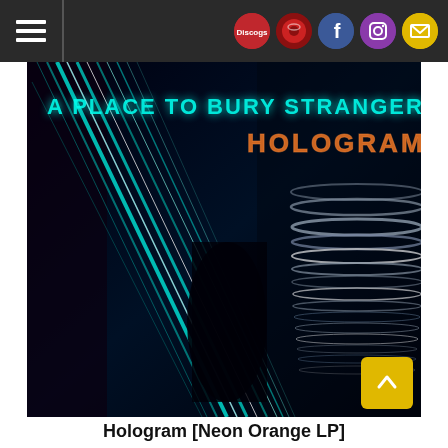Navigation bar with hamburger menu and social/platform icons: Discogs, red circle logo, Facebook, Instagram, Email
[Figure (photo): Album cover for 'A Place to Bury Strangers - Hologram' showing neon light streaks in teal/blue tones against a dark black background. The band name and album title are printed in glowing orange/copper text at the top.]
Hologram [Neon Orange LP]